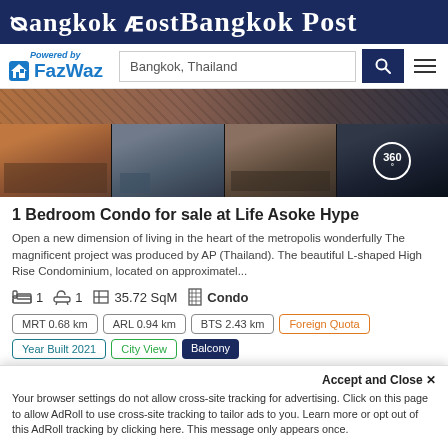Bangkok Post
[Figure (logo): FazWaz logo with house icon and 'Powered by' text, next to search bar with 'Bangkok, Thailand' placeholder, search button, and hamburger menu]
[Figure (photo): Four property interior photos of Life Asoke Hype condo: bedroom, living room with TV, living room with sofa, dining area. Fourth image has 360° badge overlay.]
1 Bedroom Condo for sale at Life Asoke Hype
Open a new dimension of living in the heart of the metropolis wonderfully The magnificent project was produced by AP (Thailand). The beautiful L-shaped High Rise Condominium, located on approximatel...
1  1  35.72 SqM  Condo
MRT 0.68 km  ARL 0.94 km  BTS 2.43 km  Foreign Quota  Year Built 2021  City View  Balcony
Accept and Close ✕
Your browser settings do not allow cross-site tracking for advertising. Click on this page to allow AdRoll to use cross-site tracking to tailor ads to you. Learn more or opt out of this AdRoll tracking by clicking here. This message only appears once.